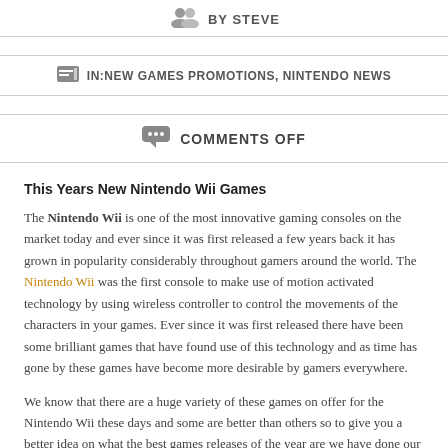BY STEVE
IN:NEW GAMES PROMOTIONS, NINTENDO NEWS
COMMENTS OFF
This Years New Nintendo Wii Games
The Nintendo Wii is one of the most innovative gaming consoles on the market today and ever since it was first released a few years back it has grown in popularity considerably throughout gamers around the world. The Nintendo Wii was the first console to make use of motion activated technology by using wireless controller to control the movements of the characters in your games. Ever since it was first released there have been some brilliant games that have found use of this technology and as time has gone by these games have become more desirable by gamers everywhere.
We know that there are a huge variety of these games on offer for the Nintendo Wii these days and some are better than others so to give you a better idea on what the best games releases of the year are we have done our best to list a small